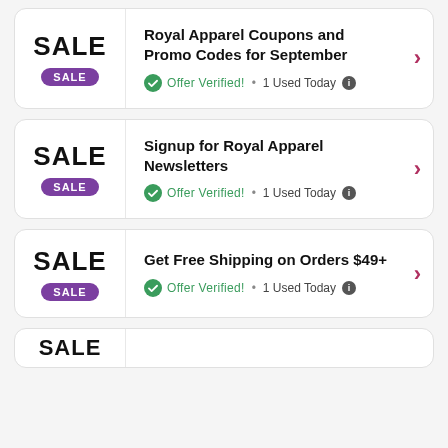SALE | Royal Apparel Coupons and Promo Codes for September | Offer Verified! • 1 Used Today
SALE | Signup for Royal Apparel Newsletters | Offer Verified! • 1 Used Today
SALE | Get Free Shipping on Orders $49+ | Offer Verified! • 1 Used Today
SALE